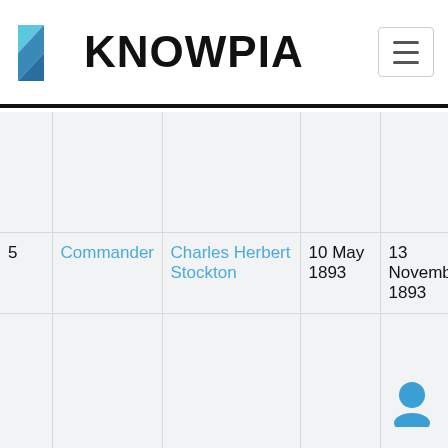KNOWPIA
|  |  |  |  |  |
| --- | --- | --- | --- | --- |
|  |  |  |  |  |
| 5 | Commander | Charles Herbert Stockton | 10 May 1893 | 13 November 1893 |